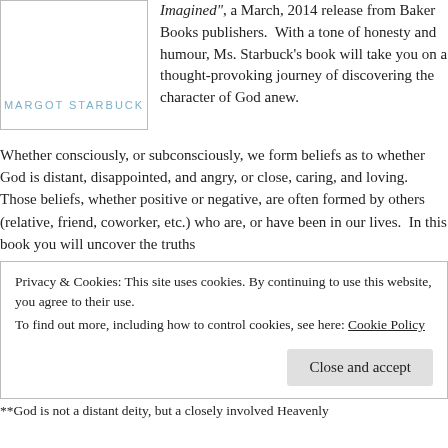[Figure (illustration): Book cover image placeholder with author name 'MARGOT STARBUCK' in light blue handwritten-style text]
Imagined", a March, 2014 release from Baker Books publishers.  With a tone of honesty and humour, Ms. Starbuck's book will take you on a thought-provoking journey of discovering the character of God anew.
Whether consciously, or subconsciously, we form beliefs as to whether God is distant, disappointed, and angry, or close, caring, and loving.  Those beliefs, whether positive or negative, are often formed by others (relative, friend, coworker, etc.) who are, or have been in our lives.  In this book you will uncover the truths
Privacy & Cookies: This site uses cookies. By continuing to use this website, you agree to their use.
To find out more, including how to control cookies, see here: Cookie Policy
Close and accept
**God is not a distant deity, but a closely involved Heavenly